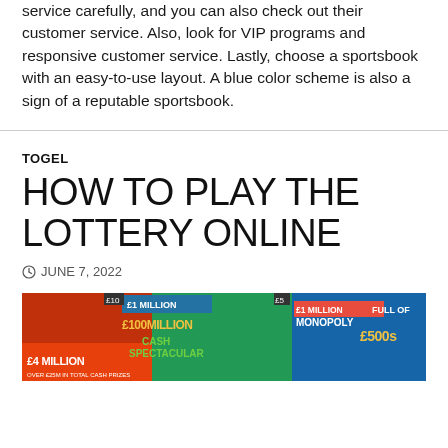service carefully, and you can also check out their customer service. Also, look for VIP programs and responsive customer service. Lastly, choose a sportsbook with an easy-to-use layout. A blue color scheme is also a sign of a reputable sportsbook.
TOGEL
HOW TO PLAY THE LOTTERY ONLINE
JUNE 7, 2022
[Figure (photo): Colorful lottery scratch card tickets displayed together, showing prizes including £1 Million, £100 Million Cash Spectacular, £4 Million, £1 Million Monopoly, and Full of £500s]